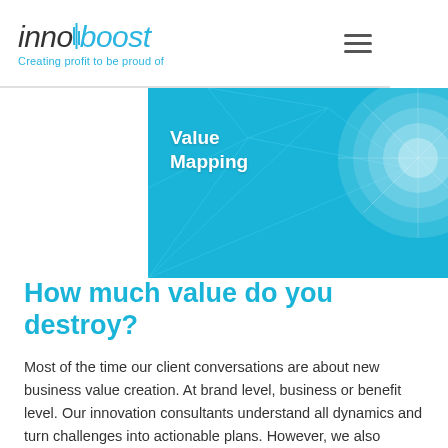innoboost — Creating profit to be proud of
[Figure (illustration): Blue hero banner with circular radar/map diagram and 'Value Mapping' text overlay on teal/cyan background with network grid lines]
How much value do you destroy?
Most of the time our client conversations are about new business value creation. At brand level, business or benefit level. Our innovation consultants understand all dynamics and turn challenges into actionable plans. However, we also change the script of the conversation. Based on the multi stakeholder value map we make,